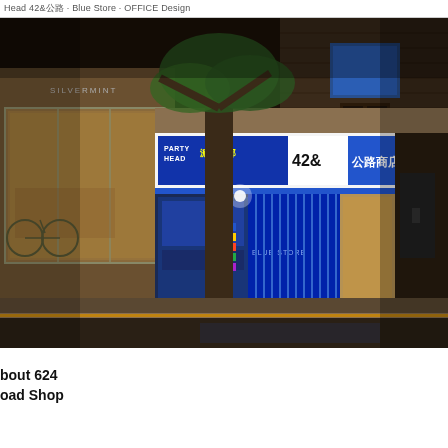Head 42&公路 · Blue Store · OFFICE Design
[Figure (photo): Night street scene showing a row of storefronts. A blue-lit shop with signage reading 'PARTY HEAD 派对头部', '42&', and '公路商店 (Road Shop)' in Chinese characters. The store facade has bright neon signs, blue vertical curtains/shutters, and illuminated display windows. A large tree stands in front. Adjacent storefronts are visible to the left. The street is empty at night.]
bout 624
oad Shop